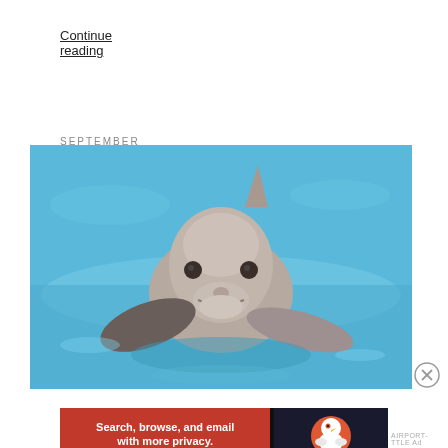Continue reading
SEPTEMBER 4, 2020
How Much Variability is in a Kind?
[Figure (photo): A bottlenose dolphin facing the camera head-on, resting at the water surface in a bright blue pool or sea, showing flippers and dorsal fin.]
Advertisements
[Figure (screenshot): DuckDuckGo advertisement banner: red background with white text 'Search, browse, and email with more privacy. All in One Free App' on left, dark background with DuckDuckGo duck logo and 'DuckDuckGo' text on right.]
AIRPORT-TTLE Ad